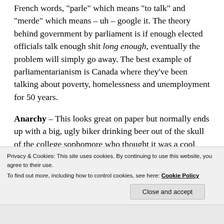French words, "parle" which means "to talk" and "merde" which means – uh – google it. The theory behind government by parliament is if enough elected officials talk enough shit long enough, eventually the problem will simply go away. The best example of parliamentarianism is Canada where they've been talking about poverty, homelessness and unemployment for 50 years.
Anarchy – This looks great on paper but normally ends up with a big, ugly biker drinking beer out of the skull of the college sophomore who thought it was a cool idea. It's basically Mad Max meets
Privacy & Cookies: This site uses cookies. By continuing to use this website, you agree to their use.
To find out more, including how to control cookies, see here: Cookie Policy